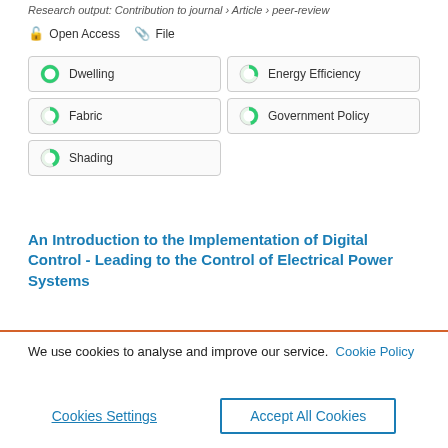Research output: Contribution to journal › Article › peer-review
Open Access   File
Dwelling
Energy Efficiency
Fabric
Government Policy
Shading
An Introduction to the Implementation of Digital Control - Leading to the Control of Electrical Power Systems
We use cookies to analyse and improve our service. Cookie Policy
Cookies Settings
Accept All Cookies